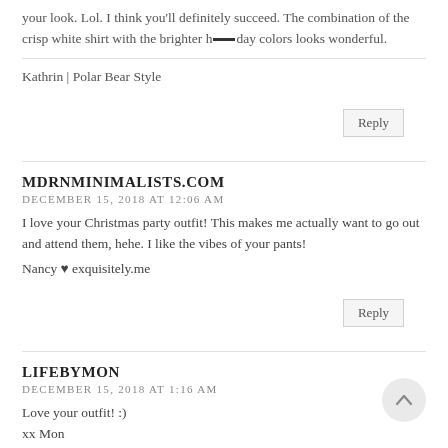your look. Lol. I think you'll definitely succeed. The combination of the crisp white shirt with the brighter holiday colors looks wonderful.
Kathrin | Polar Bear Style
Reply
MDRNMINIMALISTS.COM
DECEMBER 15, 2018 AT 12:06 AM
I love your Christmas party outfit! This makes me actually want to go out and attend them, hehe. I like the vibes of your pants!
Nancy ♥ exquisitely.me
Reply
LIFEBYMON
DECEMBER 15, 2018 AT 1:16 AM
Love your outfit! :)
xx Mon
https://lifebymon.blogspot.com